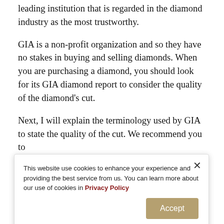leading institution that is regarded in the diamond industry as the most trustworthy.
GIA is a non-profit organization and so they have no stakes in buying and selling diamonds. When you are purchasing a diamond, you should look for its GIA diamond report to consider the quality of the diamond's cut.
Next, I will explain the terminology used by GIA to state the quality of the cut. We recommend you to
This website use cookies to enhance your experience and providing the best service from us. You can learn more about our use of cookies in Privacy Policy
Excellent (EX)